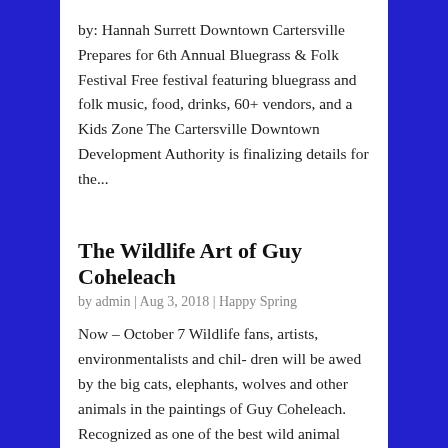by: Hannah Surrett Downtown Cartersville Prepares for 6th Annual Bluegrass & Folk Festival Free festival featuring bluegrass and folk music, food, drinks, 60+ vendors, and a Kids Zone The Cartersville Downtown Development Authority is finalizing details for the...
The Wildlife Art of Guy Coheleach
by admin | Aug 3, 2018 | Happy Spring
Now – October 7 Wildlife fans, artists, environmentalists and chil- dren will be awed by the big cats, elephants, wolves and other animals in the paintings of Guy Coheleach. Recognized as one of the best wild animal painters in the world, Coheleach's work has toured...
God's Little Sprouts Annual Fall Sale!!!
by admin | Aug 3, 2018 | Happy Spring